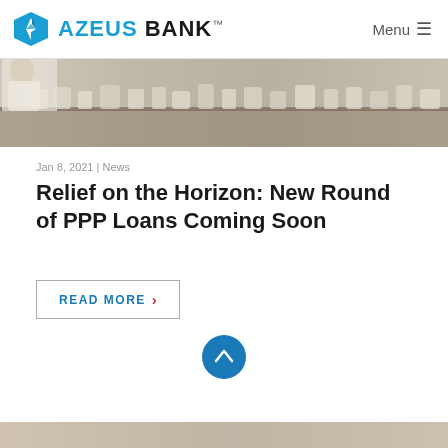AZEUS BANK™   Menu
[Figure (photo): Photo of a store shelf with jars and containers, person in white apron visible]
Jan 8, 2021 | News
Relief on the Horizon: New Round of PPP Loans Coming Soon
READ MORE >
[Figure (other): Scroll-to-top circular blue button with upward chevron arrow]
[Figure (photo): Bottom strip of another photo, partially visible]